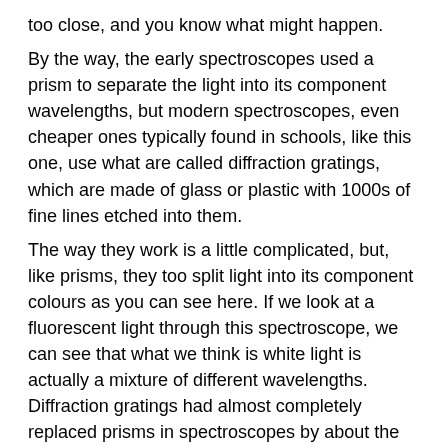too close, and you know what might happen.
By the way, the early spectroscopes used a prism to separate the light into its component wavelengths, but modern spectroscopes, even cheaper ones typically found in schools, like this one, use what are called diffraction gratings, which are made of glass or plastic with 1000s of fine lines etched into them.
The way they work is a little complicated, but, like prisms, they too split light into its component colours as you can see here. If we look at a fluorescent light through this spectroscope, we can see that what we think is white light is actually a mixture of different wavelengths. Diffraction gratings had almost completely replaced prisms in spectroscopes by about the late 1800s.
CREDITS
Thanks to Heinrich Pniok at http://pse-mendeleiew.de/en/ for his kind permission in